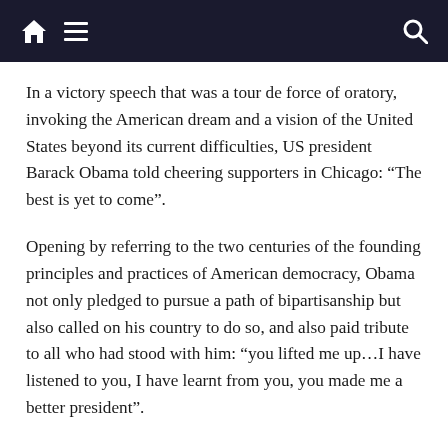Navigation bar with home, menu, and search icons
In a victory speech that was a tour de force of oratory, invoking the American dream and a vision of the United States beyond its current difficulties, US president Barack Obama told cheering supporters in Chicago: “The best is yet to come”.
Opening by referring to the two centuries of the founding principles and practices of American democracy, Obama not only pledged to pursue a path of bipartisanship but also called on his country to do so, and also paid tribute to all who had stood with him: “you lifted me up…I have listened to you, I have learnt from you, you made me a better president”.
Obama dwelt on the meaning of politics, contrasting his vision of its importance to the view that political campaigns